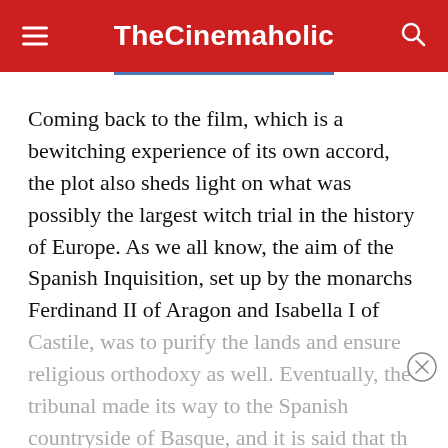TheCinemaholic
Coming back to the film, which is a bewitching experience of its own accord, the plot also sheds light on what was possibly the largest witch trial in the history of Europe. As we all know, the aim of the Spanish Inquisition, set up by the monarchs Ferdinand II of Aragon and Isabella I of Castile, was to purify the lands and ensure religious orthodoxy as well. Eventually, the tribunal made its way to the Spanish countryside of Basque, and it is said that th